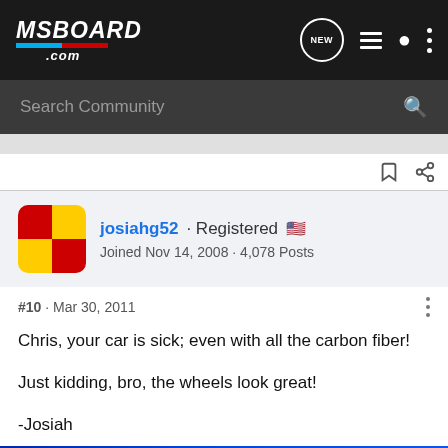MSBOARD.COM — Search Community
josiahg52 · Registered
Joined Nov 14, 2008 · 4,078 Posts
#10 · Mar 30, 2011
Chris, your car is sick; even with all the carbon fiber!

Just kidding, bro, the wheels look great!

-Josiah
[Figure (photo): Advertisement banner with blue background showing 'WITH' and 'UP TO' text]